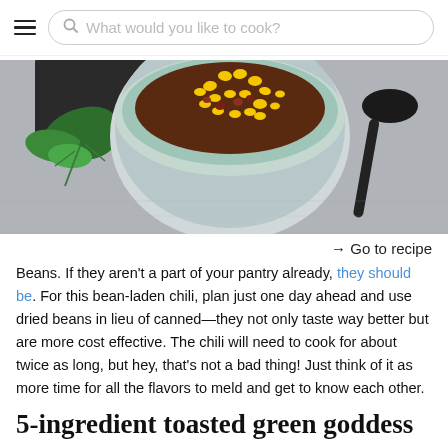What would you like to cook?
[Figure (photo): Overhead photo of a bowl of chili with corn and beans, garnished with fresh parsley, with a black spoon on the side, on a gray surface.]
→ Go to recipe
Beans. If they aren't a part of your pantry already, they should be. For this bean-laden chili, plan just one day ahead and use dried beans in lieu of canned—they not only taste way better but are more cost effective. The chili will need to cook for about twice as long, but hey, that's not a bad thing! Just think of it as more time for all the flavors to meld and get to know each other.
5-ingredient toasted green goddess